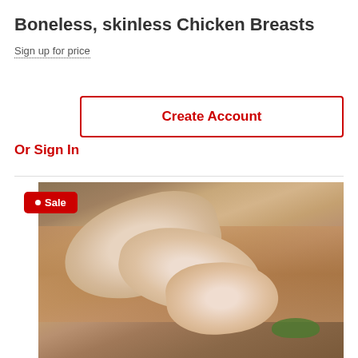Boneless, skinless Chicken Breasts
Sign up for price
Create Account
Or Sign In
[Figure (photo): Raw chicken drumsticks/legs on a wooden cutting board with rosemary and black peppercorns, with a fork beside the board. A red 'Sale' badge overlays the top-left corner of the image.]